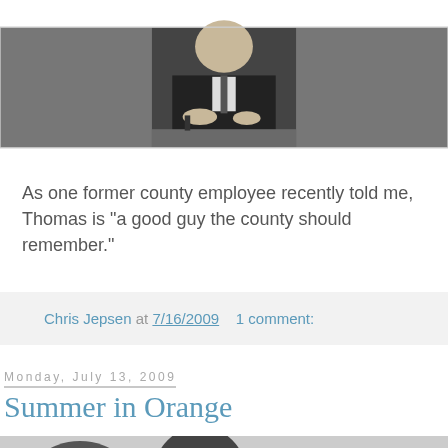[Figure (photo): Black and white photograph of a man in a suit, partially cropped, sitting at a desk with objects in front of him.]
As one former county employee recently told me, Thomas is "a good guy the county should remember."
Chris Jepsen at 7/16/2009    1 comment:
Monday, July 13, 2009
Summer in Orange
[Figure (photo): Black and white photograph of a town square or plaza with trees, benches, and buildings in the background. People are visible sitting on benches.]